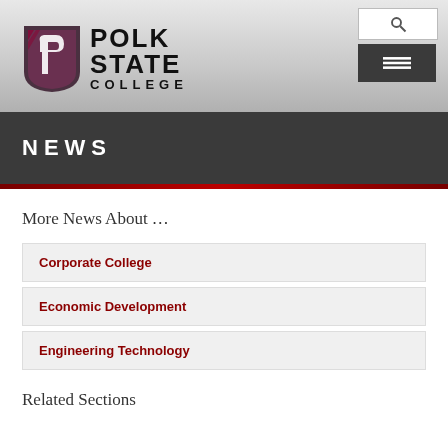Polk State College
NEWS
More News About …
Corporate College
Economic Development
Engineering Technology
Related Sections